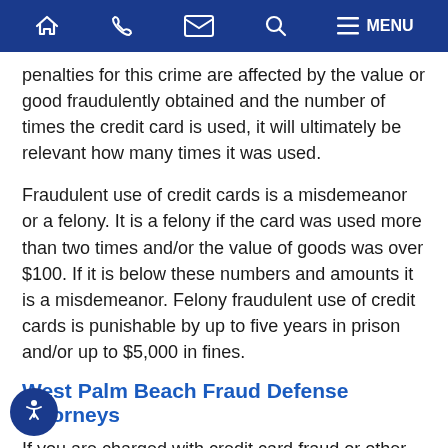Navigation bar with home, phone, email, search, and menu icons
penalties for this crime are affected by the value or good fraudulently obtained and the number of times the credit card is used, it will ultimately be relevant how many times it was used.
Fraudulent use of credit cards is a misdemeanor or a felony. It is a felony if the card was used more than two times and/or the value of goods was over $100. If it is below these numbers and amounts it is a misdemeanor. Felony fraudulent use of credit cards is punishable by up to five years in prison and/or up to $5,000 in fines.
West Palm Beach Fraud Defense Attorneys
If you are charged with credit card fraud or other kinds of economic crimes, it is important that you have a knowledgeable fraud and economic crime defense